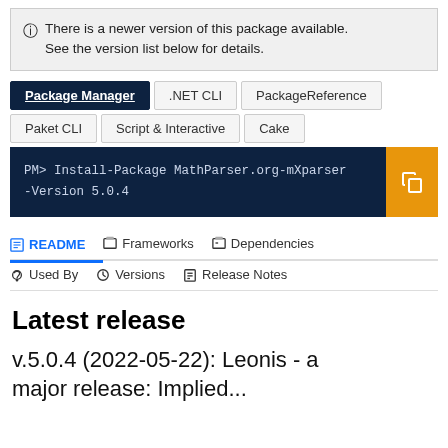ⓘ There is a newer version of this package available. See the version list below for details.
Package Manager | .NET CLI | PackageReference | Paket CLI | Script & Interactive | Cake
PM> Install-Package MathParser.org-mXparser -Version 5.0.4
README | Frameworks | Dependencies | Used By | Versions | Release Notes
Latest release
v.5.0.4 (2022-05-22): Leonis - a major release: Implied...